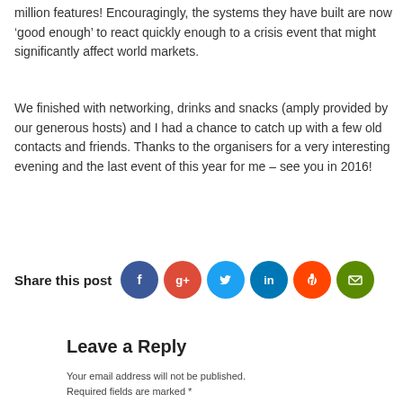million features! Encouragingly, the systems they have built are now ‘good enough’ to react quickly enough to a crisis event that might significantly affect world markets.
We finished with networking, drinks and snacks (amply provided by our generous hosts) and I had a chance to catch up with a few old contacts and friends. Thanks to the organisers for a very interesting evening and the last event of this year for me – see you in 2016!
[Figure (infographic): Share this post icons: Facebook (dark blue), Google+ (red), Twitter (light blue), LinkedIn (dark blue), Reddit (red), Email (green)]
Leave a Reply
Your email address will not be published. Required fields are marked *